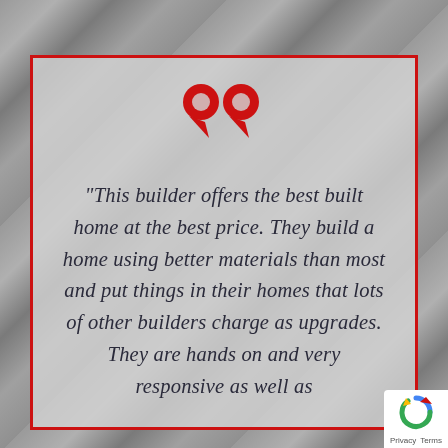[Figure (illustration): Large red decorative double quotation marks icon centered near the top of a card]
“This builder offers the best built home at the best price. They build a home using better materials than most and put things in their homes that lots of other builders charge as upgrades. They are hands on and very responsive as well as